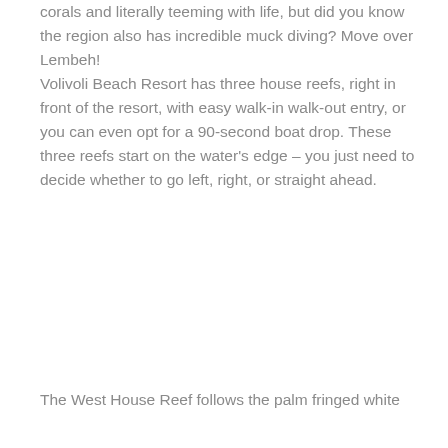corals and literally teeming with life, but did you know the region also has incredible muck diving? Move over Lembeh!
Volivoli Beach Resort has three house reefs, right in front of the resort, with easy walk-in walk-out entry, or you can even opt for a 90-second boat drop. These three reefs start on the water's edge – you just need to decide whether to go left, right, or straight ahead.
The West House Reef follows the palm fringed white